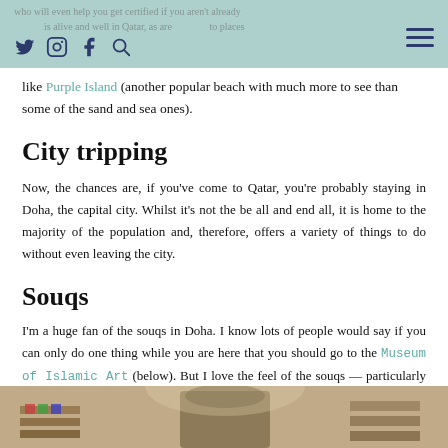Navigation header with social icons (Twitter, Instagram, Facebook, Search) and hamburger menu
like Purple Island (another popular beach with much more to see than some of the sand and sea ones).
City tripping
Now, the chances are, if you’ve come to Qatar, you’re probably staying in Doha, the capital city. Whilst it’s not the be all and end all, it is home to the majority of the population and, therefore, offers a variety of things to do without even leaving the city.
Souqs
I’m a huge fan of the souqs in Doha. I know lots of people would say if you can only do one thing while you are here that you should go to the Museum of Islamic Art (below). But I love the feel of the souqs — particularly the main one: Souq Waqif.
[Figure (photo): Bottom strip showing a photo of a souq or market interior]